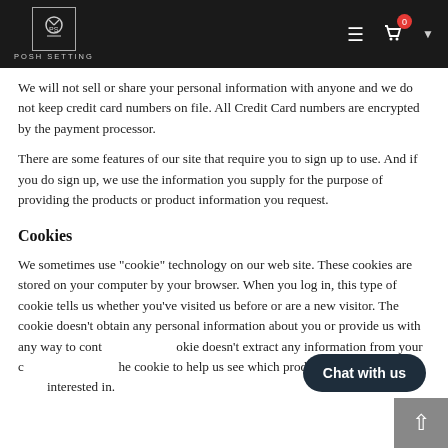POSH SETTING
We will not sell or share your personal information with anyone and we do not keep credit card numbers on file. All Credit Card numbers are encrypted by the payment processor.
There are some features of our site that require you to sign up to use. And if you do sign up, we use the information you supply for the purpose of providing the products or product information you request.
Cookies
We sometimes use "cookie" technology on our web site. These cookies are stored on your computer by your browser. When you log in, this type of cookie tells us whether you've visited us before or are a new visitor. The cookie doesn't obtain any personal information about you or provide us with any way to contact you. The cookie doesn't extract any information from your computer. We use the cookie to help us see which products our customers are most interested in.